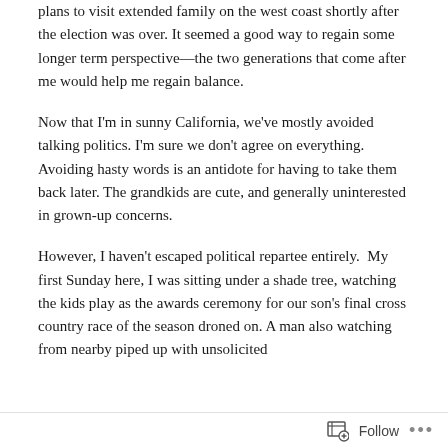plans to visit extended family on the west coast shortly after the election was over. It seemed a good way to regain some longer term perspective—the two generations that come after me would help me regain balance.
Now that I'm in sunny California, we've mostly avoided talking politics. I'm sure we don't agree on everything. Avoiding hasty words is an antidote for having to take them back later. The grandkids are cute, and generally uninterested in grown-up concerns.
However, I haven't escaped political repartee entirely.  My first Sunday here, I was sitting under a shade tree, watching the kids play as the awards ceremony for our son's final cross country race of the season droned on. A man also watching from nearby piped up with unsolicited
Follow ···